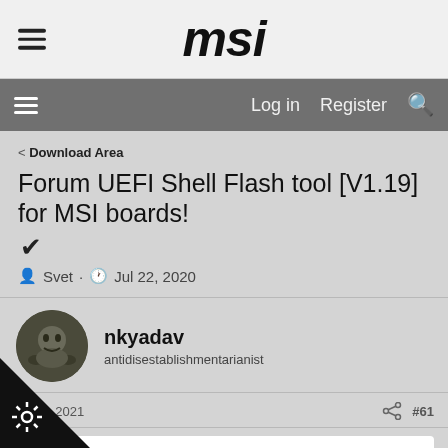msi
Log in  Register
< Download Area
Forum UEFI Shell Flash tool [V1.19] for MSI boards!
✔
Svet · Jul 22, 2020
nkyadav
antidisestablishmentarianist
Aug 3, 2021
#61
t said: ↑